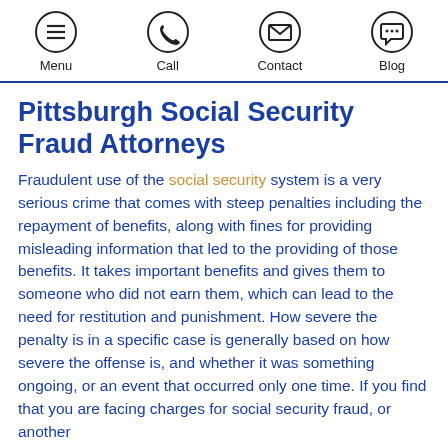Menu | Call | Contact | Blog
Pittsburgh Social Security Fraud Attorneys
Fraudulent use of the social security system is a very serious crime that comes with steep penalties including the repayment of benefits, along with fines for providing misleading information that led to the providing of those benefits. It takes important benefits and gives them to someone who did not earn them, which can lead to the need for restitution and punishment. How severe the penalty is in a specific case is generally based on how severe the offense is, and whether it was something ongoing, or an event that occurred only one time. If you find that you are facing charges for social security fraud, or another